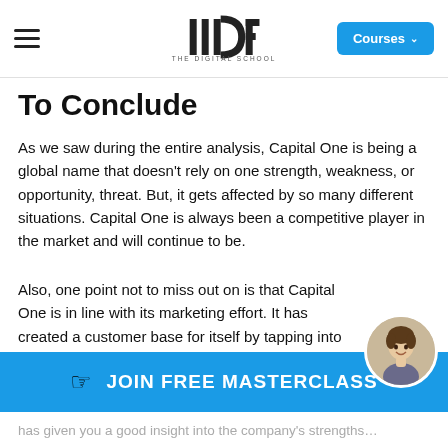IIDE – THE DIGITAL SCHOOL | Courses
To Conclude
As we saw during the entire analysis, Capital One is being a global name that doesn't rely on one strength, weakness, or opportunity, threat. But, it gets affected by so many different situations. Capital One is always been a competitive player in the market and will continue to be.
Also, one point not to miss out on is that Capital One is in line with its marketing effort. It has created a customer base for itself by tapping into the digital era and creating a social media presence on several platforms. If you are interested in learning digital marketing, don't forget to check out IIDE's 3 Month Advanced Digital Marketing Course.
has given you a good insight into the company's strengths…